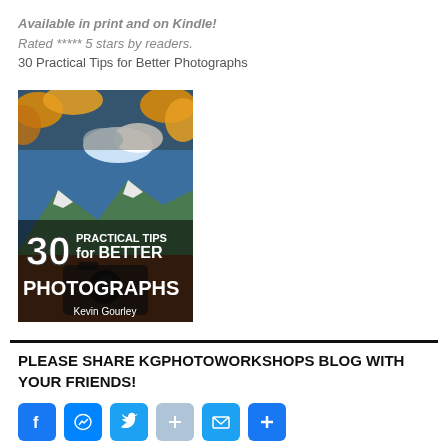Available in print and on Kindle!
Rated ***** 5 stars by readers.
30 Practical Tips for Better Photographs
[Figure (photo): Book cover for '30 Practical Tips for Better Photographs' by Kevin Gourley, showing autumn trees and mountains in the background with large bold text overlay.]
PLEASE SHARE KGPHOTOWORKSHOPS BLOG WITH YOUR FRIENDS!
[Figure (other): Social sharing buttons: Facebook, Messenger, Twitter, Share, Email, and More (+) icons]